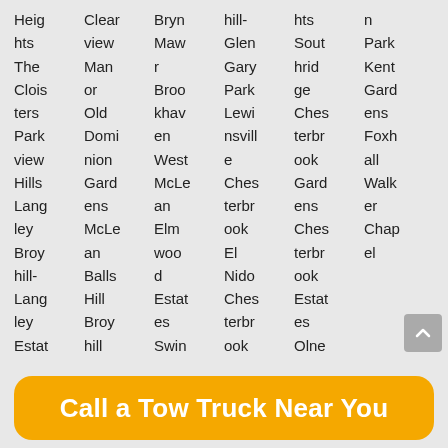Heights The Cloisters Park view Hills Langley Broyhillard- Langley Estat
Clearview Manor Old Dominion Gardens McLean Balls Hill Broy hill
Bryn Mawr Brookhaven West McLean Elmwood Estates Swin
hill-Glen Gary Park Lewinsville Chestbrook El Nido Chestbrook ook
hts Southridge Chestbrook Gard ens Chestbrook Estates Olne
n Park Kent Gardens Foxhall Walker Chapel
Call a Tow Truck Near You